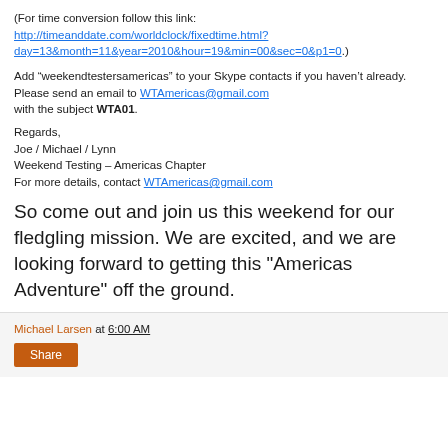(For time conversion follow this link: http://timeanddate.com/worldclock/fixedtime.html?day=13&month=11&year=2010&hour=19&min=00&sec=0&p1=0.)
Add “weekendtestersamericas” to your Skype contacts if you haven’t already. Please send an email to WTAmericas@gmail.com with the subject WTA01.
Regards,
Joe / Michael / Lynn
Weekend Testing – Americas Chapter
For more details, contact WTAmericas@gmail.com
So come out and join us this weekend for our fledgling mission. We are excited, and we are looking forward to getting this "Americas Adventure" off the ground.
Michael Larsen at 6:00 AM
Share